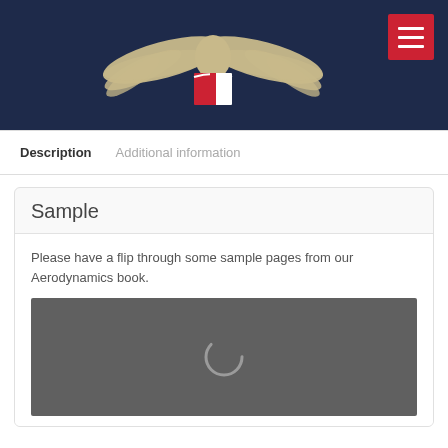[Figure (logo): Eagle/wings logo with open book in navy blue header bar, with red hamburger menu button in top right]
Description
Additional information
Sample
Please have a flip through some sample pages from our Aerodynamics book.
[Figure (screenshot): Dark grey video/media loading placeholder with spinning loader icon]